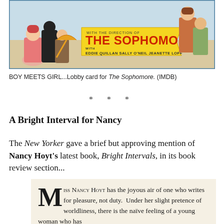[Figure (illustration): Lobby card for the 1929 film 'The Sophomore' featuring illustrated figures of young men and women with the film title on a yellow banner and cast names Eddie Quillan, Sally O'Neil, Jeanette Loff]
BOY MEETS GIRL...Lobby card for The Sophomore. (IMDB)
* * *
A Bright Interval for Nancy
The New Yorker gave a brief but approving mention of Nancy Hoyt's latest book, Bright Intervals, in its book review section...
Miss Nancy Hoyt has the joyous air of one who writes for pleasure, not duty. Under her slight pretence of worldliness, there is the naïve feeling of a young woman who has